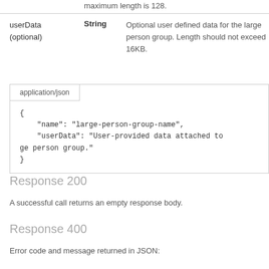maximum length is 128.
|  | Type | Description |
| --- | --- | --- |
| userData
(optional) | String | Optional user defined data for the large person group. Length should not exceed 16KB. |
[Figure (screenshot): Code block showing application/json tab with JSON body: { "name": "large-person-group-name", "userData": "User-provided data attached to the large person group." }]
Response 200
A successful call returns an empty response body.
Response 400
Error code and message returned in JSON: